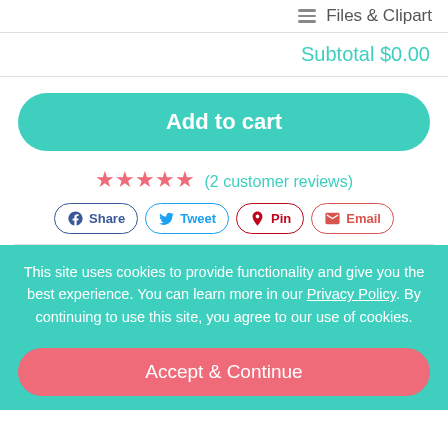Files & Clipart
Subtotal $0.00
Add to cart
★★★★★ (2 customer reviews)
Share  Tweet  Pin  Email
This site uses cookies to provide functionality and give you the best experience. You can learn more in our Privacy Policy. By continuing to use this site, you agree to our use of cookies.
Accept & Continue